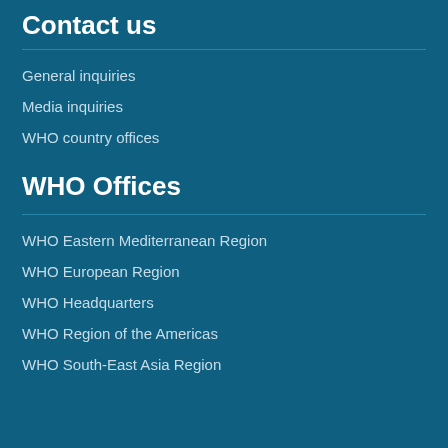Contact us
General inquiries
Media inquiries
WHO country offices
WHO Offices
WHO Eastern Mediterranean Region
WHO European Region
WHO Headquarters
WHO Region of the Americas
WHO South-East Asia Region